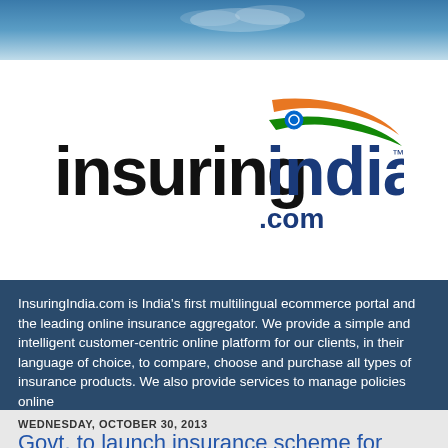[Figure (logo): Sky/cloud banner image at top of page]
[Figure (logo): InsuringIndia.com logo with Indian flag-colored swoosh design and .com text]
InsuringIndia.com is India's first multilingual ecommerce portal and the leading online insurance aggregator. We provide a simple and intelligent customer-centric online platform for our clients, in their language of choice, to compare, choose and purchase all types of insurance products. We also provide services to manage policies online
WEDNESDAY, OCTOBER 30, 2013
Govt. to launch insurance scheme for